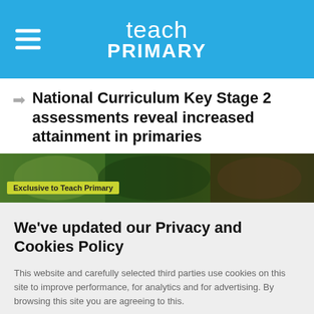teach PRIMARY
National Curriculum Key Stage 2 assessments reveal increased attainment in primaries
[Figure (illustration): Colorful illustrated banner with text 'Exclusive to Teach Primary']
We've updated our Privacy and Cookies Policy
This website and carefully selected third parties use cookies on this site to improve performance, for analytics and for advertising. By browsing this site you are agreeing to this.
For more information see our Privacy and Cookie policy.